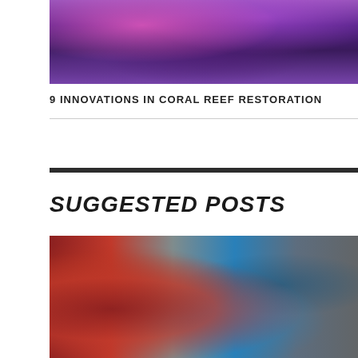[Figure (photo): Close-up photograph of colorful coral reef with pink and purple anemones and sea creatures underwater]
9 INNOVATIONS IN CORAL REEF RESTORATION
[Figure (photo): Industrial drilling equipment labeled ГКШ-3000 with a worker in blue uniform and hard hat operating machinery at a drill site]
SUGGESTED POSTS